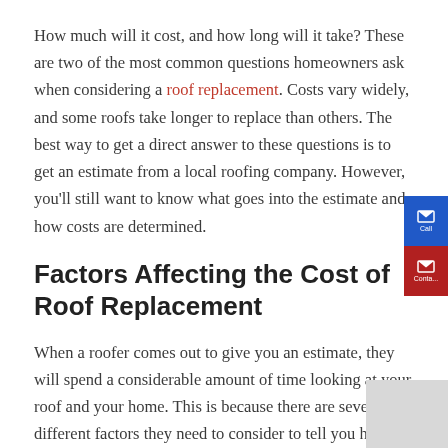How much will it cost, and how long will it take? These are two of the most common questions homeowners ask when considering a roof replacement. Costs vary widely, and some roofs take longer to replace than others. The best way to get a direct answer to these questions is to get an estimate from a local roofing company. However, you'll still want to know what goes into the estimate and how costs are determined.
Factors Affecting the Cost of Roof Replacement
When a roofer comes out to give you an estimate, they will spend a considerable amount of time looking at your roof and your home. This is because there are several different factors they need to consider to tell you how much your new roof will cost.